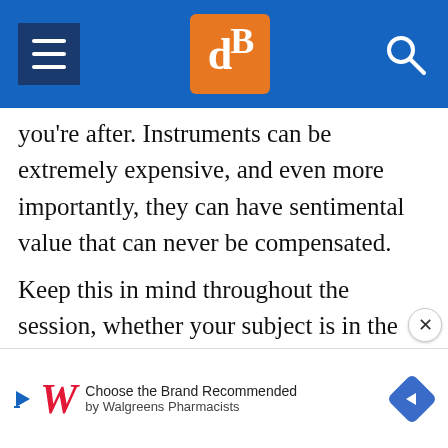dPS header navigation
you’re after. Instruments can be extremely expensive, and even more importantly, they can have sentimental value that can never be compensated.
Keep this in mind throughout the session, whether your subject is in the photo with the instrument or not. And never ask the musician to do something that could harm or damage the instrument; it’s a very easy way to lose the musician’s trust, make them feel uncomfortabl
[Figure (infographic): Advertisement banner: Walgreens - Choose the Brand Recommended by Walgreens Pharmacists]